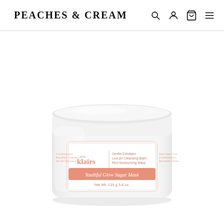PEACHES & CREAM
[Figure (photo): White cosmetic jar of dear, klairs Youthful Glow Sugar Mask. The jar is round with a white lid. Label shows: dear, klairs | Gentle Exfoliator / Low pH Cleansing Balm / Rich Moisturizing Mask | Youthful Glow Sugar Mask | Net Wt. 110 g 3.8 oz. Pink/salmon colored label band at bottom of label area.]